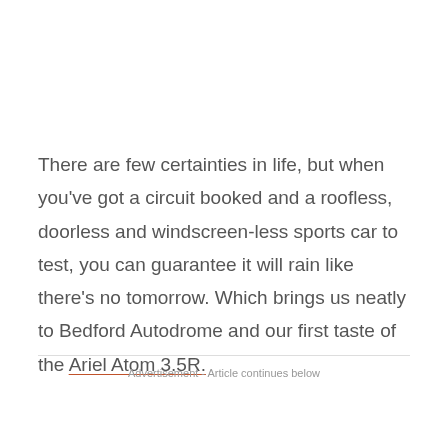There are few certainties in life, but when you've got a circuit booked and a roofless, doorless and windscreen-less sports car to test, you can guarantee it will rain like there's no tomorrow. Which brings us neatly to Bedford Autodrome and our first taste of the Ariel Atom 3.5R.
Advertisement - Article continues below